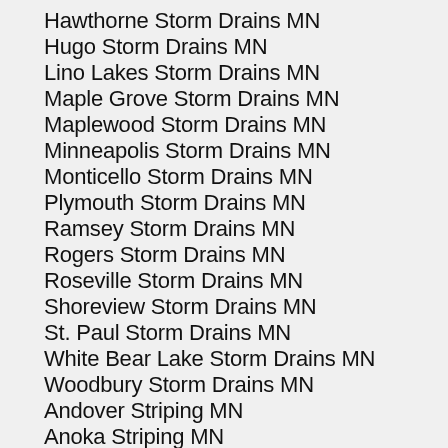Hawthorne Storm Drains MN
Hugo Storm Drains MN
Lino Lakes Storm Drains MN
Maple Grove Storm Drains MN
Maplewood Storm Drains MN
Minneapolis Storm Drains MN
Monticello Storm Drains MN
Plymouth Storm Drains MN
Ramsey Storm Drains MN
Rogers Storm Drains MN
Roseville Storm Drains MN
Shoreview Storm Drains MN
St. Paul Storm Drains MN
White Bear Lake Storm Drains MN
Woodbury Storm Drains MN
Andover Striping MN
Anoka Striping MN